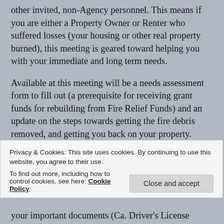other invited, non-Agency personnel. This means if you are either a Property Owner or Renter who suffered losses (your housing or other real property burned), this meeting is geared toward helping you with your immediate and long term needs.
Available at this meeting will be a needs assessment form to fill out (a prerequisite for receiving grant funds for rebuilding from Fire Relief Funds) and an update on the steps towards getting the fire debris removed, and getting you back on your property.
Privacy & Cookies: This site uses cookies. By continuing to use this website, you agree to their use.
To find out more, including how to control cookies, see here: Cookie Policy
Close and accept
your important documents (Ca. Driver's License